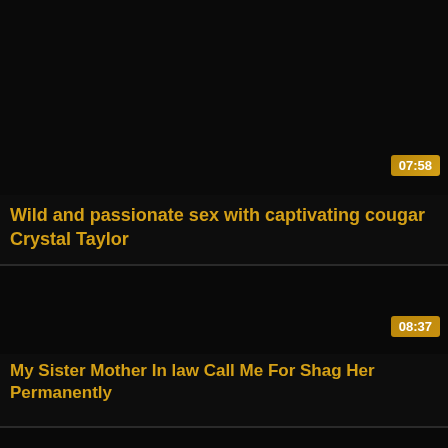[Figure (screenshot): Dark video thumbnail for first card]
07:58
Wild and passionate sex with captivating cougar Crystal Taylor
[Figure (screenshot): Dark video thumbnail for second card]
08:37
My Sister Mother In law Call Me For Shag Her Permanently
[Figure (screenshot): Partial dark thumbnail for third card]